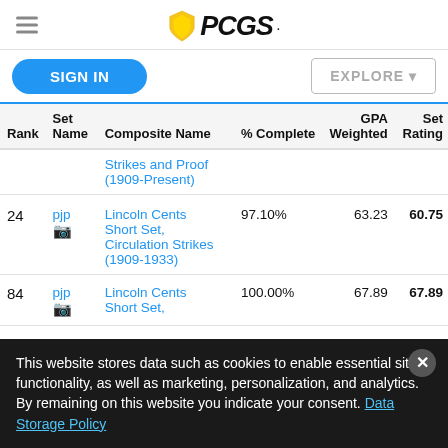PCGS logo with hamburger menu
SIGN IN | EXPLORE
| Rank | Set Name | Composite Name | % Complete | GPA Weighted | Set Rating |
| --- | --- | --- | --- | --- | --- |
|  |  | Strikes and Proof (1909-Present) |  |  |  |
| 24 | pjp | Lincoln Cents Short Set, Circulation Strikes (1909-1933) | 97.10% | 63.23 | 60.75 |
| 84 | pjp | Lincoln Cents Short Set, | 100.00% | 67.89 | 67.89 |
This website stores data such as cookies to enable essential site functionality, as well as marketing, personalization, and analytics. By remaining on this website you indicate your consent. Data Storage Policy